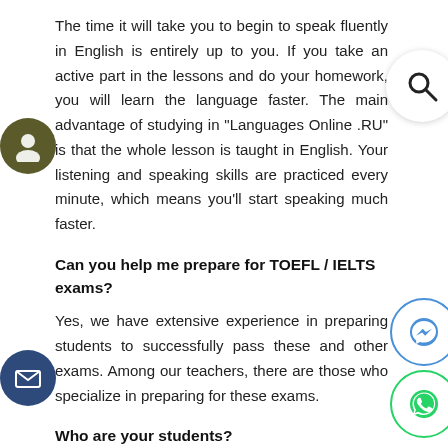The time it will take you to begin to speak fluently in English is entirely up to you. If you take an active part in the lessons and do your homework, you will learn the language faster. The main advantage of studying in "Languages Online .RU" is that the whole lesson is taught in English. Your listening and speaking skills are practiced every minute, which means you'll start speaking much faster.
Can you help me prepare for TOEFL / IELTS exams?
Yes, we have extensive experience in preparing students to successfully pass these and other exams. Among our teachers, there are those who specialize in preparing for these exams.
Who are your students?
Our students are representatives of various professions and age categories. Children from 4 years old, students, businessmen, leading employees and directors of